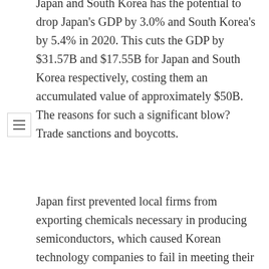Japan and South Korea has the potential to drop Japan's GDP by 3.0% and South Korea's by 5.4% in 2020. This cuts the GDP by $31.57B and $17.55B for Japan and South Korea respectively, costing them an accumulated value of approximately $50B. The reasons for such a significant blow? Trade sanctions and boycotts.
Japan first prevented local firms from exporting chemicals necessary in producing semiconductors, which caused Korean technology companies to fail in meeting their production deadlines. Furthermore, Japan took South Korea off their list of trusted trading partners, implying that they have no intention of yielding but that this trade war will be a long